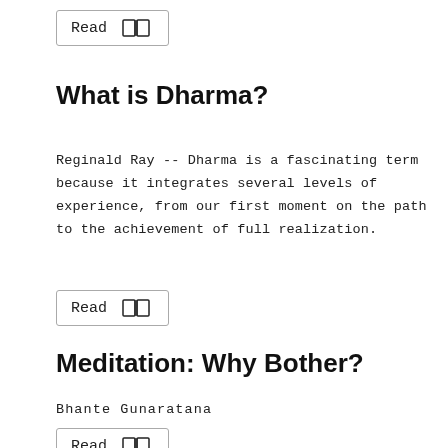[Figure (other): Read button with book icon at the top of the page]
What is Dharma?
Reginald Ray -- Dharma is a fascinating term because it integrates several levels of experience, from our first moment on the path to the achievement of full realization.
[Figure (other): Read button with book icon below the Dharma text]
Meditation: Why Bother?
Bhante Gunaratana
[Figure (other): Read button with book icon at the bottom of the page]